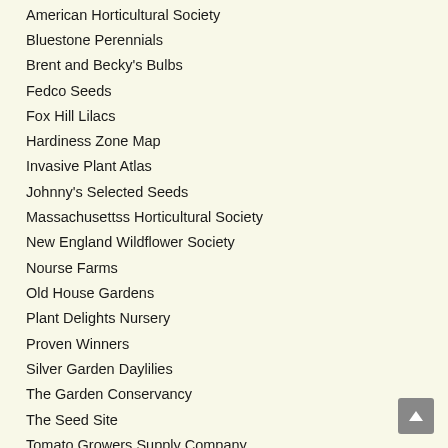American Horticultural Society
Bluestone Perennials
Brent and Becky's Bulbs
Fedco Seeds
Fox Hill Lilacs
Hardiness Zone Map
Invasive Plant Atlas
Johnny's Selected Seeds
Massachusettss Horticultural Society
New England Wildflower Society
Nourse Farms
Old House Gardens
Plant Delights Nursery
Proven Winners
Silver Garden Daylilies
The Garden Conservancy
The Seed Site
Tomato Growers Supply Company
Western Mass Master Gardeners